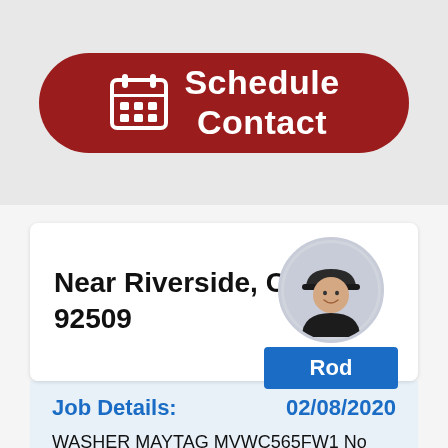[Figure (screenshot): Red rounded button with calendar icon and text 'Schedule Contact']
Near Riverside, CA 92509
[Figure (photo): Circular profile photo of technician Rod wearing a dark cap and shirt, with a blue name badge below reading 'Rod']
Job Details:
02/08/2020
WASHER MAYTAG MVWC565FW1 No power when pts is depressed-Confirmed No power through control power led was out.Ordering